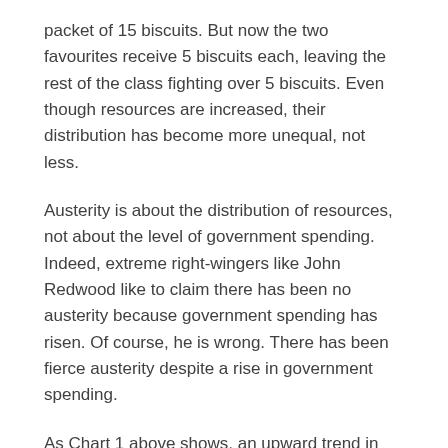packet of 15 biscuits. But now the two favourites receive 5 biscuits each, leaving the rest of the class fighting over 5 biscuits. Even though resources are increased, their distribution has become more unequal, not less.
Austerity is about the distribution of resources, not about the level of government spending. Indeed, extreme right-wingers like John Redwood like to claim there has been no austerity because government spending has risen. Of course, he is wrong. There has been fierce austerity despite a rise in government spending.
As Chart 1 above shows, an upward trend in government spending has been in place since 1990. But that did not stop Osborne and Cameron, in one of their first major austerity measures from increasing VAT (overwhelmingly paid by those on average on lower incomes) while cutting Corporation Tax (paid on profits). As far as the Treasury was concerned this